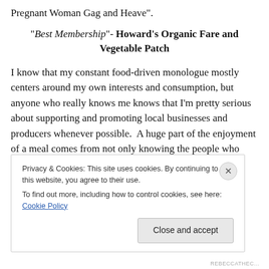Pregnant Woman Gag and Heave".
“Best Membership”- Howard’s Organic Fare and Vegetable Patch
I know that my constant food-driven monologue mostly centers around my own interests and consumption, but anyone who really knows me knows that I’m pretty serious about supporting and promoting local businesses and producers whenever possible.  A huge part of the enjoyment of a meal comes from not only knowing the people who prepare your food, but the people who grow
Privacy & Cookies: This site uses cookies. By continuing to use this website, you agree to their use.
To find out more, including how to control cookies, see here: Cookie Policy
Close and accept